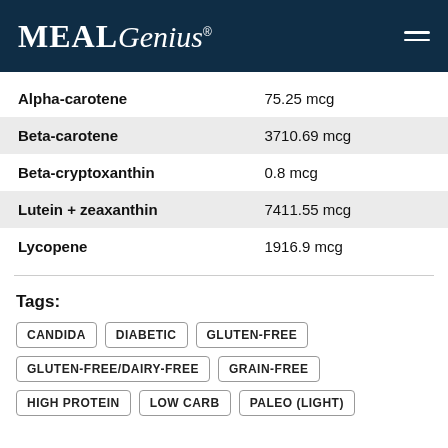MealGenius
| Nutrient | Amount |
| --- | --- |
| Alpha-carotene | 75.25 mcg |
| Beta-carotene | 3710.69 mcg |
| Beta-cryptoxanthin | 0.8 mcg |
| Lutein + zeaxanthin | 7411.55 mcg |
| Lycopene | 1916.9 mcg |
Tags:
CANDIDA
DIABETIC
GLUTEN-FREE
GLUTEN-FREE/DAIRY-FREE
GRAIN-FREE
HIGH PROTEIN
LOW CARB
PALEO (LIGHT)